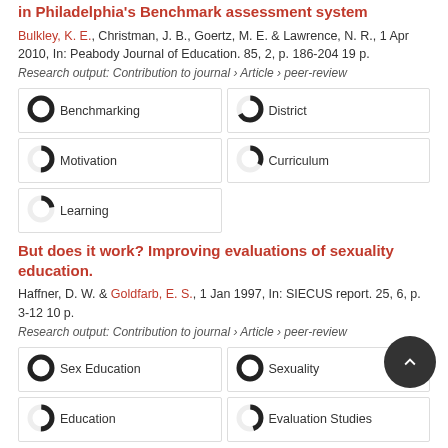in Philadelphia's Benchmark assessment system
Bulkley, K. E., Christman, J. B., Goertz, M. E. & Lawrence, N. R., 1 Apr 2010, In: Peabody Journal of Education. 85, 2, p. 186-204 19 p.
Research output: Contribution to journal › Article › peer-review
[Figure (infographic): Keyword badges with donut chart indicators: Benchmarking 100%, District 67%, Motivation 50%, Curriculum 33%, Learning 22%]
But does it work? Improving evaluations of sexuality education.
Haffner, D. W. & Goldfarb, E. S., 1 Jan 1997, In: SIECUS report. 25, 6, p. 3-12 10 p.
Research output: Contribution to journal › Article › peer-review
[Figure (infographic): Keyword badges with donut chart indicators: Sex Education 100%, Sexuality 100%, Education 50%, Evaluation Studies 45%]